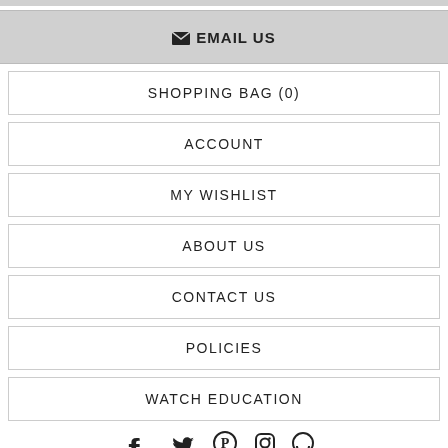EMAIL US
SHOPPING BAG (0)
ACCOUNT
MY WISHLIST
ABOUT US
CONTACT US
POLICIES
WATCH EDUCATION
[Figure (infographic): Row of social media icons: Facebook, Twitter, Pinterest, Instagram, and one partially visible icon]